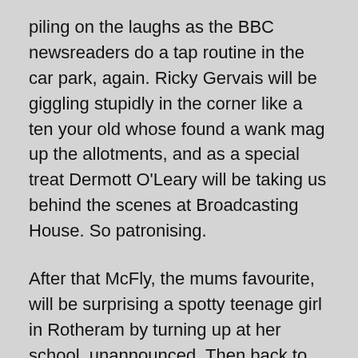piling on the laughs as the BBC newsreaders do a tap routine in the car park, again. Ricky Gervais will be giggling stupidly in the corner like a ten your old whose found a wank mag up the allotments, and as a special treat Dermott O'Leary will be taking us behind the scenes at Broadcasting House. So patronising.
After that McFly, the mums favourite, will be surprising a spotty teenage girl in Rotheram by turning up at her school, unannounced. Then back to Bill sodding Nighy cracking everyone up by mumbling and trying to dance at a Young Offenders Institution in Soweto.